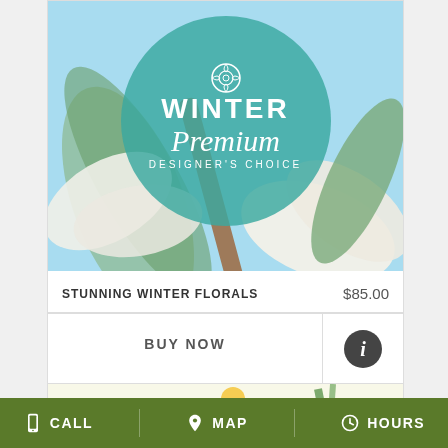[Figure (screenshot): Florist mobile app product listing showing Winter Premium Designer's Choice floral arrangement with teal circle overlay on a light blue background with white tulips/flowers]
STUNNING WINTER FLORALS
$85.00
BUY NOW
CALL   MAP   HOURS